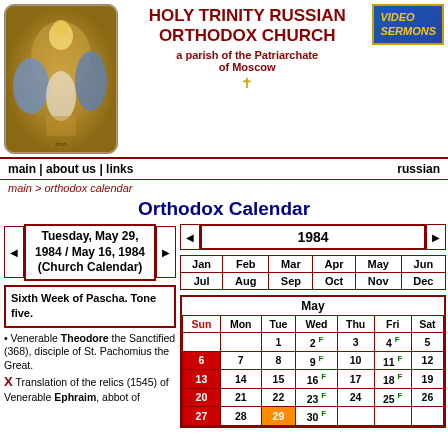HOLY TRINITY RUSSIAN ORTHODOX CHURCH
a parish of the Patriarchate of Moscow
main | about us | links    russian
main > orthodox calendar
Orthodox Calendar
Tuesday, May 29, 1984 / May 16, 1984 (Church Calendar)
1984
Sixth Week of Pascha. Tone five.
Venerable Theodore the Sanctified (368), disciple of St. Pachomius the Great.
Translation of the relics (1545) of Venerable Ephraim, abbot of
| Jan | Feb | Mar | Apr | May | Jun | Jul | Aug | Sep | Oct | Nov | Dec |
| --- | --- | --- | --- | --- | --- | --- | --- | --- | --- | --- | --- |
| Sun | Mon | Tue | Wed | Thu | Fri | Sat |
| --- | --- | --- | --- | --- | --- | --- |
|  |  | 1 | 2 F | 3 | 4 F | 5 |
| 6 | 7 | 8 | 9 F | 10 | 11 F | 12 |
| 13 | 14 | 15 | 16 F | 17 | 18 F | 19 |
| 20 | 21 | 22 | 23 F | 24 | 25 F | 26 |
| 27 | 28 | 29 | 30 F |  |  |  |